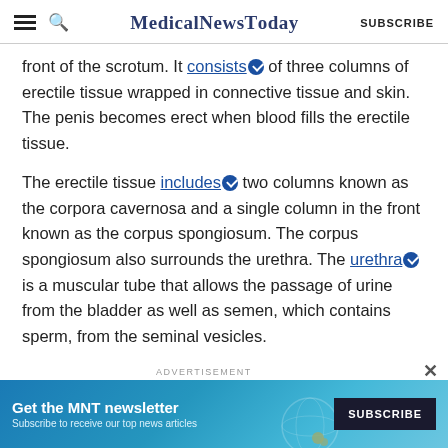MedicalNewsToday | SUBSCRIBE
front of the scrotum. It consists of three columns of erectile tissue wrapped in connective tissue and skin. The penis becomes erect when blood fills the erectile tissue.
The erectile tissue includes two columns known as the corpora cavernosa and a single column in the front known as the corpus spongiosum. The corpus spongiosum also surrounds the urethra. The urethra is a muscular tube that allows the passage of urine from the bladder as well as semen, which contains sperm, from the seminal vesicles.
[Figure (other): Advertisement banner: Get the MNT newsletter - Subscribe to receive our top news articles. Subscribe button shown.]